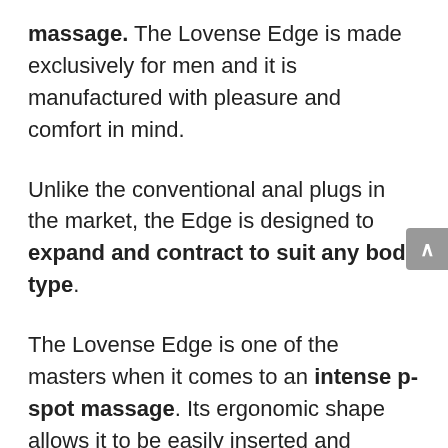massage. The Lovense Edge is made exclusively for men and it is manufactured with pleasure and comfort in mind.
Unlike the conventional anal plugs in the market, the Edge is designed to expand and contract to suit any body type.
The Lovense Edge is one of the masters when it comes to an intense p-spot massage. Its ergonomic shape allows it to be easily inserted and enable it to locate your p-spot with ease even if it is deep inside the anal canal.
The body of the plug is sturdy but it still gives